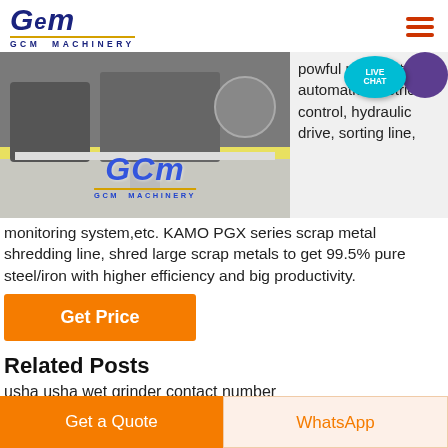[Figure (logo): GCM Machinery logo with blue stylized GCM text and gold underline]
[Figure (photo): Industrial machinery/shredder equipment photo with GCM Machinery watermark overlay]
powful motor, automatic electric control, hydraulic drive, sorting line, monitoring system,etc. KAMO PGX series scrap metal shredding line, shred large scrap metals to get 99.5% pure steel/iron with higher efficiency and big productivity.
Get Price
Related Posts
usha usha wet grinder contact number
scroll back fine crusher
teflon on tolvas para desminuir el ruido en trituradoras
Get a Quote
WhatsApp